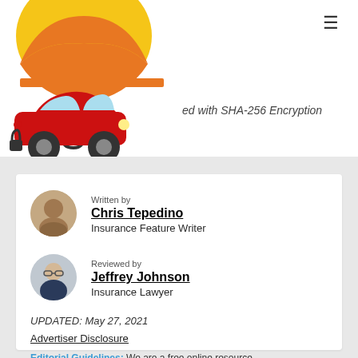[Figure (illustration): Car insurance illustration: red car with yellow-orange umbrella above it, orange horizontal bar, lock icon. Partially cropped.]
ed with SHA-256 Encryption
Written by
Chris Tepedino
Insurance Feature Writer
Reviewed by
Jeffrey Johnson
Insurance Lawyer
UPDATED: May 27, 2021
Advertiser Disclosure
Editorial Guidelines: We are a free online resource